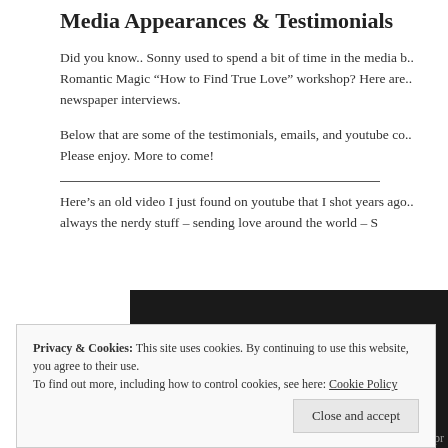Media Appearances & Testimonials
Did you know.. Sonny used to spend a bit of time in the media b... Romantic Magic “How to Find True Love” workshop? Here are... newspaper interviews.
Below that are some of the testimonials, emails, and youtube co... Please enjoy. More to come!
Here’s an old video I just found on youtube that I shot years ago... always the nerdy stuff – sending love around the world – S
[Figure (screenshot): Embedded video player with dark background, partially visible play/share icon at bottom]
Privacy & Cookies: This site uses cookies. By continuing to use this website, you agree to their use.
To find out more, including how to control cookies, see here: Cookie Policy
Close and accept